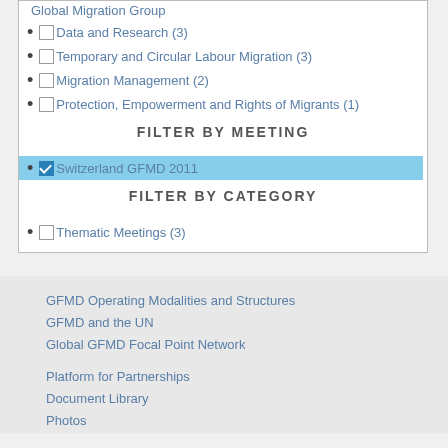Global Migration Group
Data and Research (3)
Temporary and Circular Labour Migration (3)
Migration Management (2)
Protection, Empowerment and Rights of Migrants (1)
FILTER BY MEETING
Switzerland GFMD 2011
FILTER BY CATEGORY
Thematic Meetings (3)
GFMD Operating Modalities and Structures
GFMD and the UN
Global GFMD Focal Point Network
Platform for Partnerships
Document Library
Photos